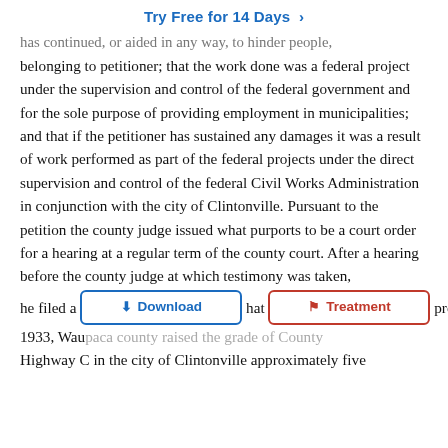Try Free for 14 Days >
has continued, or aided in any way, to hinder people, belonging to petitioner; that the work done was a federal project under the supervision and control of the federal government and for the sole purpose of providing employment in municipalities; and that if the petitioner has sustained any damages it was a result of work performed as part of the federal projects under the direct supervision and control of the federal Civil Works Administration in conjunction with the city of Clintonville. Pursuant to the petition the county judge issued what purports to be a court order for a hearing at a regular term of the county court. After a hearing before the county judge at which testimony was taken, he filed a [Download] [Treatment] hat project in 1933, Waupaca county raised the grade of County Highway C in the city of Clintonville approximately five